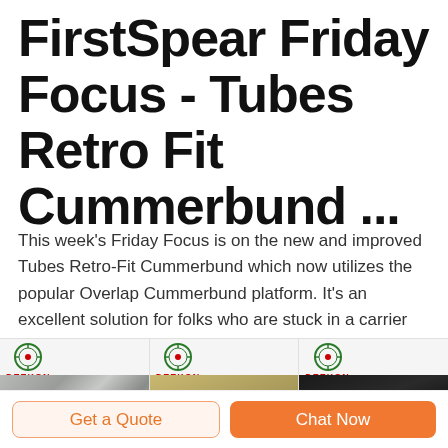FirstSpear Friday Focus - Tubes Retro Fit Cummerbund ...
This week's Friday Focus is on the new and improved Tubes Retro-Fit Cummerbund which now utilizes the popular Overlap Cummerbund platform. It's an excellent solution for folks who are stuck in a carrier for a few months or years and want to upgrade their system with Tubes and 6/12 before they can transition to a full featured FS plate carrier.
[Figure (photo): Three product images side by side showing fabric, tactical vest, and boots, each with DEEKON logo watermark]
Get a Quote
Chat Now